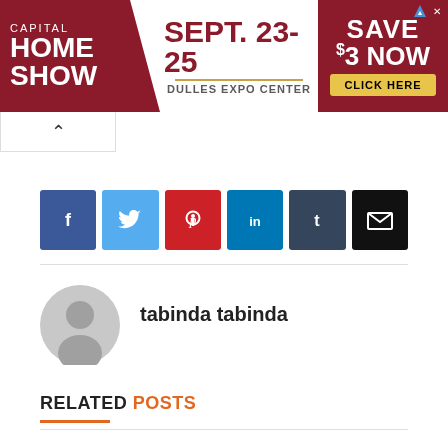[Figure (other): Capital Home Show advertisement banner. Text reads: CAPITAL HOME SHOW | SEPT. 23-25 | DULLES EXPO CENTER | SAVE $3 NOW | CLICK HERE]
[Figure (other): Navigation back button with upward caret icon]
[Figure (other): Social sharing buttons row: Facebook (blue), Twitter (light blue), Pinterest (red), LinkedIn (teal), Tumblr (dark blue-grey), Email (black)]
tabinda tabinda
RELATED POSTS